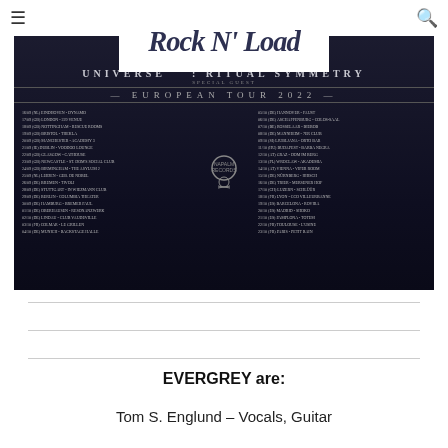☰  Rock N' Load  🔍
[Figure (photo): European Tour 2022 promotional poster for Evergrey with Universe and Ritual Symmetry, listing many tour dates across Europe in September and October 2022, on a dark background with band logos.]
EVERGREY are:
Tom S. Englund – Vocals, Guitar